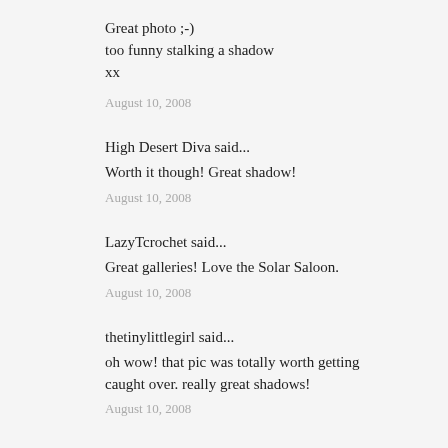Great photo ;-)
too funny stalking a shadow
xx
August 10, 2008
High Desert Diva said...
Worth it though! Great shadow!
August 10, 2008
LazyTcrochet said...
Great galleries! Love the Solar Saloon.
August 10, 2008
thetinylittlegirl said...
oh wow! that pic was totally worth getting caught over. really great shadows!
August 10, 2008